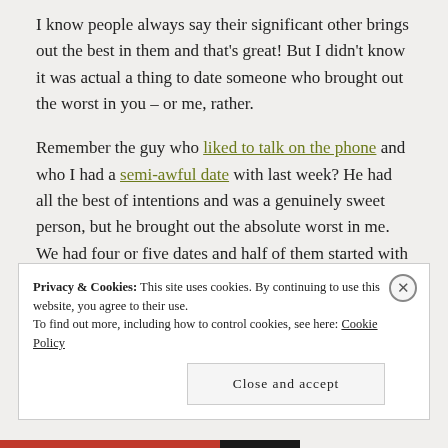I know people always say their significant other brings out the best in them and that's great! But I didn't know it was actual a thing to date someone who brought out the worst in you – or me, rather.
Remember the guy who liked to talk on the phone and who I had a semi-awful date with last week? He had all the best of intentions and was a genuinely sweet person, but he brought out the absolute worst in me. We had four or five dates and half of them started with him being unable to make plans, showing up late, and/or doing nothing but fighting with me.
Privacy & Cookies: This site uses cookies. By continuing to use this website, you agree to their use. To find out more, including how to control cookies, see here: Cookie Policy
Close and accept